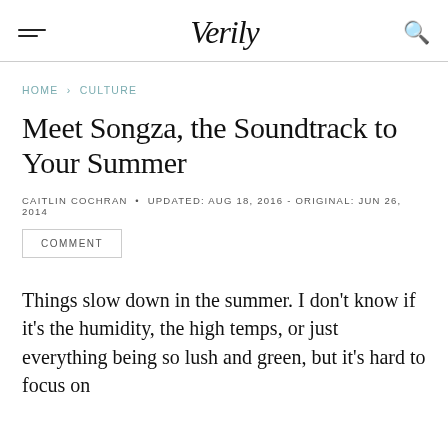Verily
HOME › CULTURE
Meet Songza, the Soundtrack to Your Summer
CAITLIN COCHRAN • UPDATED: AUG 18, 2016 - ORIGINAL: JUN 26, 2014
COMMENT
Things slow down in the summer. I don't know if it's the humidity, the high temps, or just everything being so lush and green, but it's hard to focus on